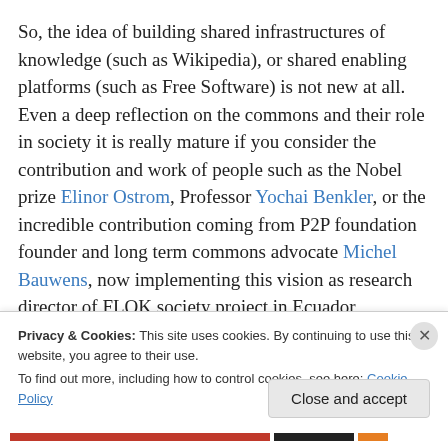So, the idea of building shared infrastructures of knowledge (such as Wikipedia), or shared enabling platforms (such as Free Software) is not new at all. Even a deep reflection on the commons and their role in society it is really mature if you consider the contribution and work of people such as the Nobel prize Elinor Ostrom, Professor Yochai Benkler, or the incredible contribution coming from P2P foundation founder and long term commons advocate Michel Bauwens, now implementing this vision as research director of FLOK society project in Ecuador (something you should really look into).
Privacy & Cookies: This site uses cookies. By continuing to use this website, you agree to their use.
To find out more, including how to control cookies, see here: Cookie Policy
Close and accept